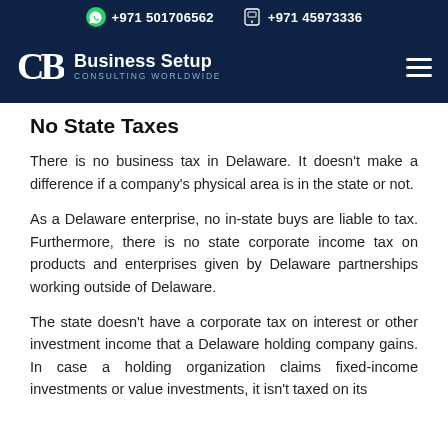+971 501706562   +971 45973336
[Figure (logo): Business Setup Consulting Worldwide logo with stylized CB monogram on dark navy background with hamburger menu icon]
No State Taxes
There is no business tax in Delaware. It doesn't make a difference if a company's physical area is in the state or not.
As a Delaware enterprise, no in-state buys are liable to tax. Furthermore, there is no state corporate income tax on products and enterprises given by Delaware partnerships working outside of Delaware.
The state doesn't have a corporate tax on interest or other investment income that a Delaware holding company gains. In case a holding organization claims fixed-income investments or value investments, it isn't taxed on its